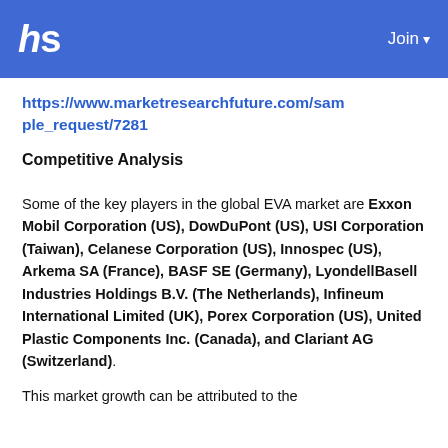hs  Join
https://www.marketresearchfuture.com/sample_request/7281
Competitive Analysis
Some of the key players in the global EVA market are Exxon Mobil Corporation (US), DowDuPont (US), USI Corporation (Taiwan), Celanese Corporation (US), Innospec (US), Arkema SA (France), BASF SE (Germany), LyondellBasell Industries Holdings B.V. (The Netherlands), Infineum International Limited (UK), Porex Corporation (US), United Plastic Components Inc. (Canada), and Clariant AG (Switzerland).
This market growth can be attributed to the